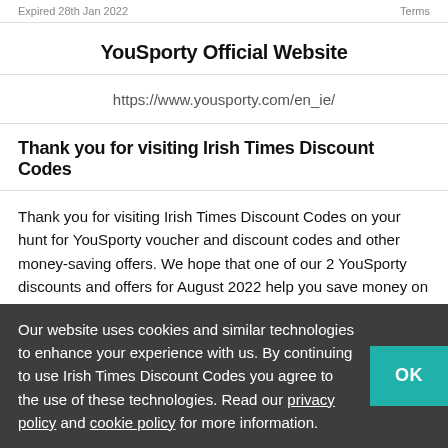Expired 28th Jan 2022   Terms
YouSporty Official Website
https://www.yousporty.com/en_ie/
Thank you for visiting Irish Times Discount Codes
Thank you for visiting Irish Times Discount Codes on your hunt for YouSporty voucher and discount codes and other money-saving offers. We hope that one of our 2 YouSporty discounts and offers for August 2022 help you save money on your next purchase. When you visit Irish Times Discount Codes you can rest assured that our team has searched high and low to find all available YouSporty discount codes, affiliate programs, promotional discounts, free delivery and even cashback offers to make sure YouSporty aggressively...
Our website uses cookies and similar technologies to enhance your experience with us. By continuing to use Irish Times Discount Codes you agree to the use of these technologies. Read our privacy policy and cookie policy for more information.